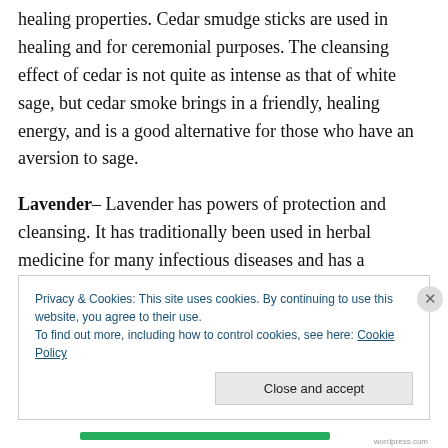healing properties. Cedar smudge sticks are used in healing and for ceremonial purposes. The cleansing effect of cedar is not quite as intense as that of white sage, but cedar smoke brings in a friendly, healing energy, and is a good alternative for those who have an aversion to sage.
Lavender– Lavender has powers of protection and cleansing. It has traditionally been used in herbal medicine for many infectious diseases and has a soothing effect on the nervous system. Magically it is used for protection and also for love. Lavender brings a positive energy, opens the
Privacy & Cookies: This site uses cookies. By continuing to use this website, you agree to their use.
To find out more, including how to control cookies, see here: Cookie Policy